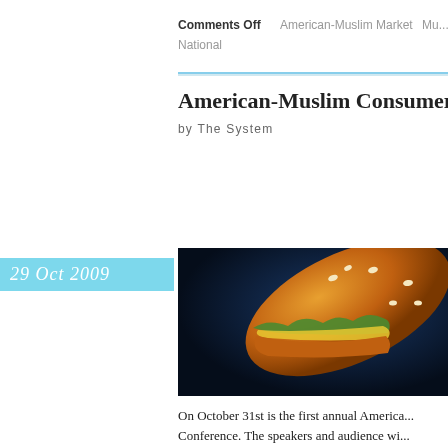Comments Off   American-Muslim Market   Mu...
National
American-Muslim Consumer Co...
by The System
[Figure (photo): Stylized photo of a hamburger bun flying through dark blue background]
On October 31st is the first annual America... Conference. The speakers and audience wi... businesses and scholars, all there to discuss... consumer demographic. One Hundred and ... lot of spending power still overlooked by m...